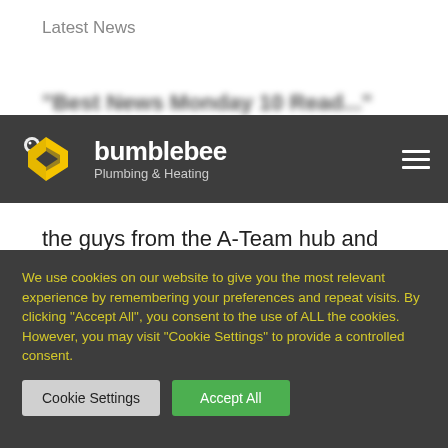Latest News
[Figure (screenshot): Bumblebee Plumbing & Heating navigation bar with logo (bee graphic) and hamburger menu on dark grey background]
the guys from the A-Team hub and hear first-hand what they do for their community and how they are going to make sure everyone in...
We use cookies on our website to give you the most relevant experience by remembering your preferences and repeat visits. By clicking "Accept All", you consent to the use of ALL the cookies. However, you may visit "Cookie Settings" to provide a controlled consent.